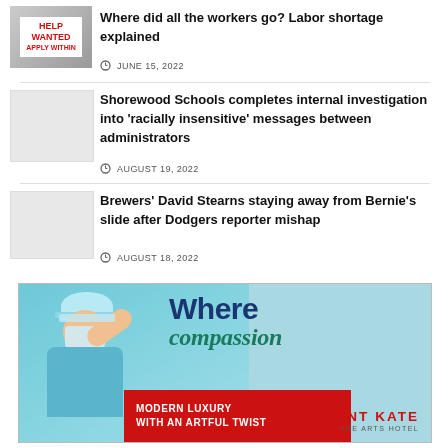[Figure (photo): Help Wanted Apply Within sign photo]
Where did all the workers go? Labor shortage explained
JUNE 15, 2022
[Figure (photo): Blank/placeholder thumbnail for Shorewood Schools article]
Shorewood Schools completes internal investigation into 'racially insensitive' messages between administrators
AUGUST 19, 2022
[Figure (photo): Blank/placeholder thumbnail for Brewers article]
Brewers' David Stearns staying away from Bernie's slide after Dodgers reporter mishap
AUGUST 18, 2022
[Figure (illustration): Advertisement featuring a nurse/medical worker with text 'Where compassion' and Saint Kate The Arts Hotel ad with 'Modern Luxury With An Artful Twist']